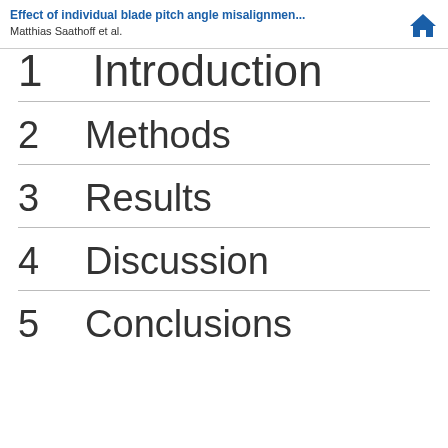Effect of individual blade pitch angle misalignmen...
Matthias Saathoff et al.
1  Introduction
2  Methods
3  Results
4  Discussion
5  Conclusions